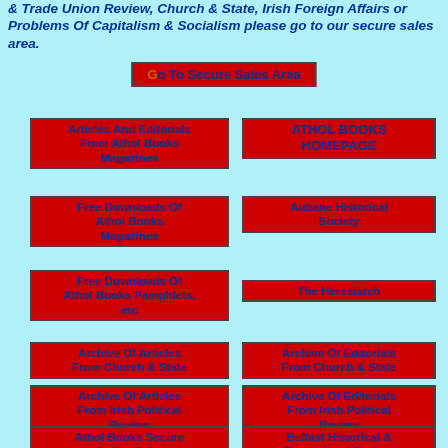& Trade Union Review, Church & State, Irish Foreign Affairs or Problems Of Capitalism & Socialism please go to our secure sales area.
Go To Secure Sales Area
Articles And Editorials From Athol Books Magazines
ATHOL BOOKS HOMEPAGE
Free Downloads Of Athol Books Magazines
Aubane Historical Society
Free Downloads Of Athol Books Pamphlets, etc
The Heresiarch
Archive Of Articles From Church & State
Archive Of Editorials From Church & State
Archive Of Articles From Irish Political Review
Archive Of Editorials From Irish Political Review
Athol Books Secure Online Sales
Belfast Historical & Educational Society